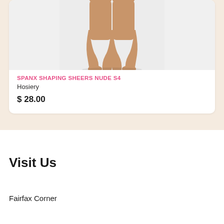[Figure (photo): Photo of bare legs wearing nude sheer hosiery, cropped from mid-thigh down to feet, on a light gray background.]
SPANX SHAPING SHEERS NUDE S4
Hosiery
$ 28.00
Visit Us
Fairfax Corner